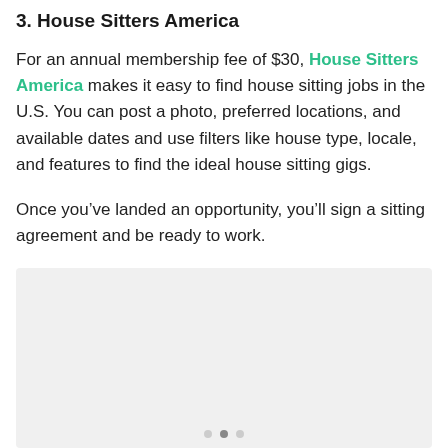3. House Sitters America
For an annual membership fee of $30, House Sitters America makes it easy to find house sitting jobs in the U.S. You can post a photo, preferred locations, and available dates and use filters like house type, locale, and features to find the ideal house sitting gigs.
Once you’ve landed an opportunity, you’ll sign a sitting agreement and be ready to work.
[Figure (photo): Light gray placeholder image area with carousel dots at the bottom]